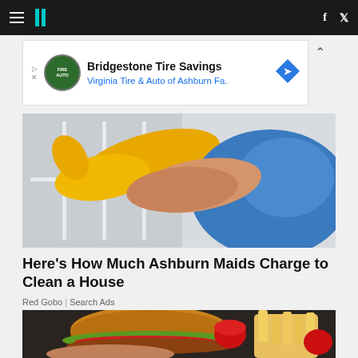HuffPost navigation with hamburger menu, logo, Facebook and Twitter icons
[Figure (screenshot): Advertisement banner: Bridgestone Tire Savings - Virginia Tire & Auto of Ashburn Fa.]
[Figure (photo): Person wearing yellow rubber gloves and blue shirt cleaning a window or surface]
Here's How Much Ashburn Maids Charge to Clean a House
Red Gobo | Search Ads
[Figure (photo): Hand holding a large burger/sandwich with french fries and ketchup on a fast food tray]